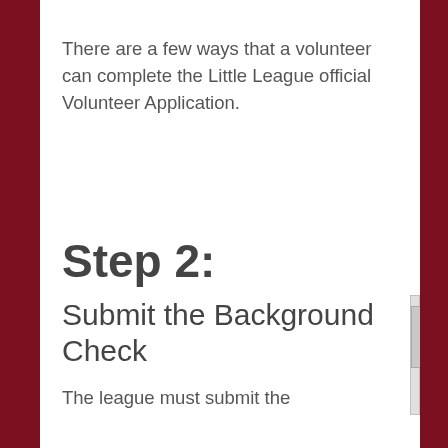There are a few ways that a volunteer can complete the Little League official Volunteer Application.
Step 2:
Submit the Background Check
The league must submit the